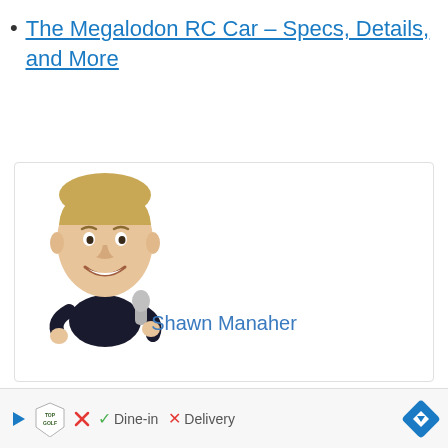The Megalodon RC Car – Specs, Details, and More
[Figure (illustration): Cartoon bobblehead illustration of a man with large head and small body, holding a microphone, wearing dark clothing]
Shawn Manaher
Shawn Manaher loves to play with new
to ... al
[Figure (other): Advertisement bar: Topgolf logo with play button, checkmark Dine-in, X Delivery, navigation arrow icon]